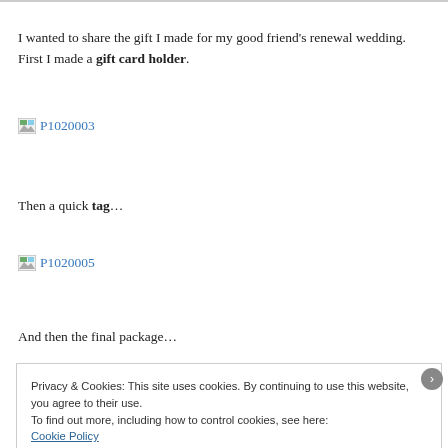I wanted to share the gift I made for my good friend's renewal wedding.  First I made a gift card holder.
[Figure (other): Broken image thumbnail link labeled P1020003]
Then a quick tag…
[Figure (other): Broken image thumbnail link labeled P1020005]
And then the final package…
Privacy & Cookies: This site uses cookies. By continuing to use this website, you agree to their use.
To find out more, including how to control cookies, see here:
Cookie Policy

Close and accept